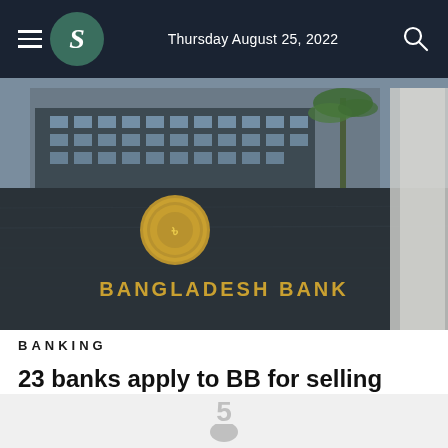Thursday August 25, 2022
[Figure (photo): Exterior photograph of the Bangladesh Bank building showing the sign 'BANGLADESH BANK' with a circular emblem/seal on a dark granite facade, multi-storey office building and palm trees in the background]
BANKING
23 banks apply to BB for selling cash dollars at 666 branches